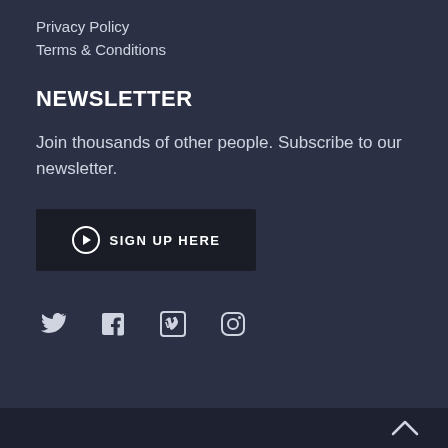Privacy Policy
Terms & Conditions
NEWSLETTER
Join thousands of other people. Subscribe to our newsletter.
[Figure (other): Sign up here button with arrow icon]
[Figure (other): Social media icons: Twitter, Facebook, Vimeo, Instagram]